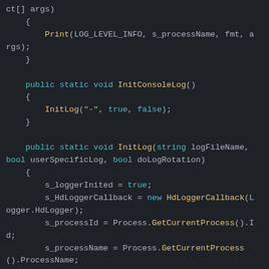[Figure (screenshot): Code editor screenshot showing C# source code with syntax highlighting on a dark background. The code includes methods: a partial method signature with Print call, InitConsoleLog(), and InitLog() with variable assignments for s_loggerInited, s_HdLoggerCallback, s_processId, and s_processName.]